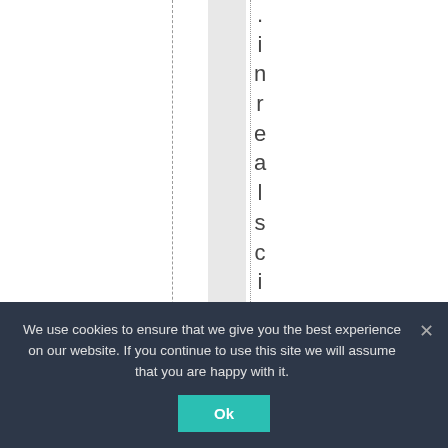in real science, you
We use cookies to ensure that we give you the best experience on our website. If you continue to use this site we will assume that you are happy with it.